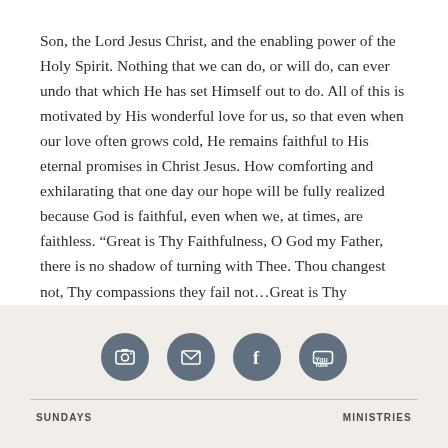Son, the Lord Jesus Christ, and the enabling power of the Holy Spirit. Nothing that we can do, or will do, can ever undo that which He has set Himself out to do. All of this is motivated by His wonderful love for us, so that even when our love often grows cold, He remains faithful to His eternal promises in Christ Jesus. How comforting and exhilarating that one day our hope will be fully realized because God is faithful, even when we, at times, are faithless. “Great is Thy Faithfulness, O God my Father, there is no shadow of turning with Thee. Thou changest not, Thy compassions they fail not…Great is Thy faithfulness, Lord unto me.”
[Figure (infographic): Four circular social media icon buttons in steel blue: camera/Instagram, envelope/email, Facebook f, YouTube logo]
SUNDAYS    MINISTRIES